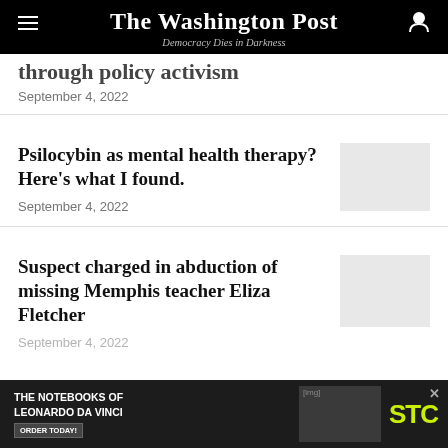The Washington Post — Democracy Dies in Darkness
through policy activism
September 4, 2022
Psilocybin as mental health therapy? Here's what I found.
September 4, 2022
Suspect charged in abduction of missing Memphis teacher Eliza Fletcher
September 4, 2022
[Figure (other): Advertisement banner: THE NOTEBOOKS OF LEONARDO DA VINCI — ORDER TODAY! with STC logo]